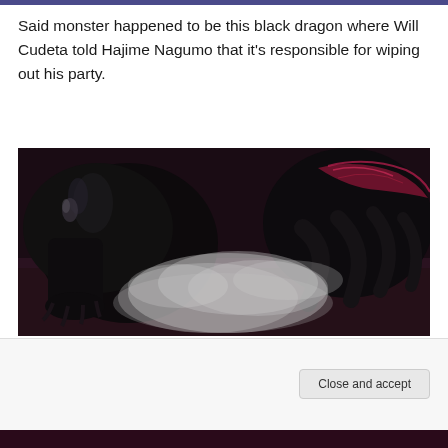Said monster happened to be this black dragon where Will Cudeta told Hajime Nagumo that it's responsible for wiping out his party.
[Figure (photo): Dark fantasy video game screenshot showing a large black dragon creature with smoke or mist around its legs and clawed feet, with pink/red accents visible on wings, dark atmospheric scene]
Privacy & Cookies: This site uses cookies. By continuing to use this website, you agree to their use.
To find out more, including how to control cookies, see here: Cookie Policy
Close and accept